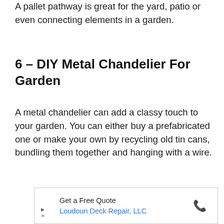A pallet pathway is great for the yard, patio or even connecting elements in a garden.
6 - DIY Metal Chandelier For Garden
A metal chandelier can add a classy touch to your garden. You can either buy a prefabricated one or make your own by recycling old tin cans, bundling them together and hanging with a wire.
[Figure (other): Advertisement banner: Get a Free Quote, Loudoun Deck Repair, LLC, with phone icon and close/play controls]